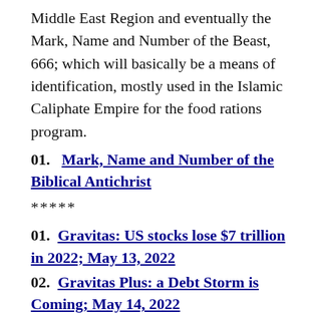Middle East Region and eventually the Mark, Name and Number of the Beast, 666; which will basically be a means of identification, mostly used in the Islamic Caliphate Empire for the food rations program.
01.   Mark, Name and Number of the Biblical Antichrist
*****
01.   Gravitas: US stocks lose $7 trillion in 2022; May 13, 2022
02.   Gravitas Plus: a Debt Storm is Coming; May 14, 2022
03......
*****
It would do us all some good, to